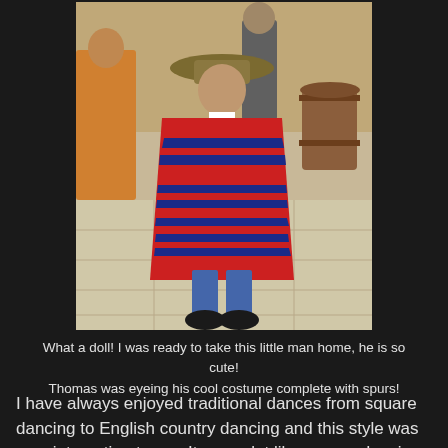[Figure (photo): A young boy dressed in traditional costume with a red striped poncho and a wide-brimmed hat, standing on a tiled floor inside a hall. Other people in traditional costumes are visible in the background.]
What a doll! I was ready to take this little man home, he is so cute! Thomas was eyeing his cool costume complete with spurs!
I have always enjoyed traditional dances from square dancing to English country dancing and this style was very interesting to me. It was a lot like square dancing but with a